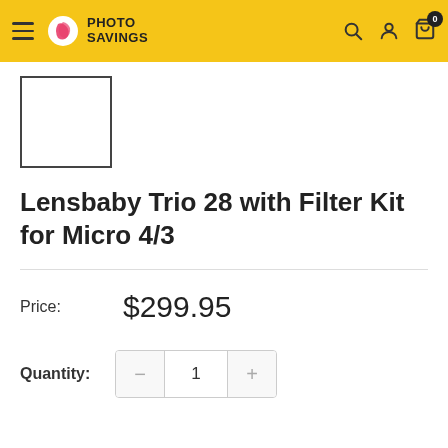Photo Savings – navigation header with logo, search, account, cart (0)
[Figure (photo): Product image placeholder – white square with dark border]
Lensbaby Trio 28 with Filter Kit for Micro 4/3
Price: $299.95
Quantity: 1